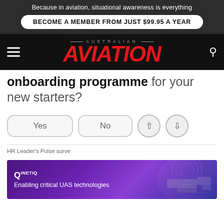Because in aviation, situational awareness is everything
BECOME A MEMBER FROM JUST $99.95 A YEAR
AUSTRALIAN AVIATION
onboarding programme for your new starters?
Yes
No
HR Leader's Pulse surve
[Figure (infographic): QinetiQ advertisement banner with purple/violet gradient background showing text 'QINETIQ - Enabling critical UAS technologies' with drone/aerial imagery on the right side]